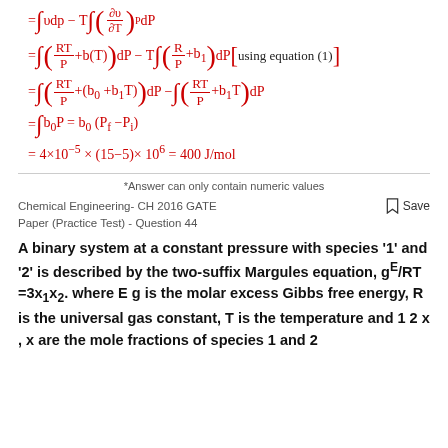*Answer can only contain numeric values
Chemical Engineering- CH 2016 GATE Paper (Practice Test) - Question 44
A binary system at a constant pressure with species '1' and '2' is described by the two-suffix Margules equation, g^E/RT =3x1x2. where E g is the molar excess Gibbs free energy, R is the universal gas constant, T is the temperature and 1 2 x , x are the mole fractions of species 1 and 2